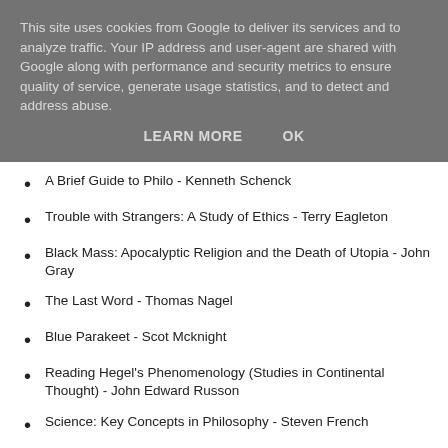This site uses cookies from Google to deliver its services and to analyze traffic. Your IP address and user-agent are shared with Google along with performance and security metrics to ensure quality of service, generate usage statistics, and to detect and address abuse.
LEARN MORE   OK
A Brief Guide to Philo - Kenneth Schenck
Trouble with Strangers: A Study of Ethics - Terry Eagleton
Black Mass: Apocalyptic Religion and the Death of Utopia - John Gray
The Last Word - Thomas Nagel
Blue Parakeet - Scot Mcknight
Reading Hegel's Phenomenology (Studies in Continental Thought) - John Edward Russon
Science: Key Concepts in Philosophy - Steven French